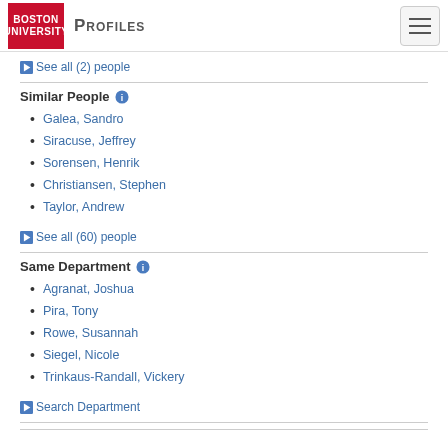Boston University Profiles
▶ See all (2) people
Similar People
Galea, Sandro
Siracuse, Jeffrey
Sorensen, Henrik
Christiansen, Stephen
Taylor, Andrew
▶ See all (60) people
Same Department
Agranat, Joshua
Pira, Tony
Rowe, Susannah
Siegel, Nicole
Trinkaus-Randall, Vickery
▶ Search Department